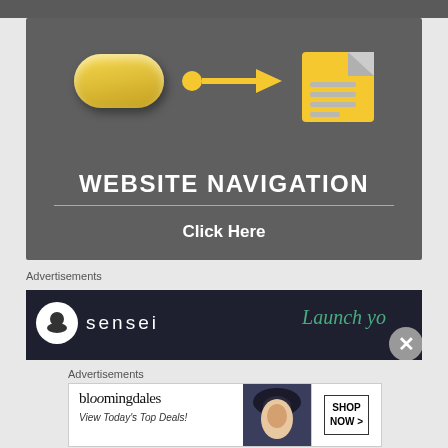[Figure (infographic): Website navigation infographic with dark gray background, yellow pill button icon, arrow connector, document icon, title 'WEBSITE NAVIGATION', and 'Click Here' call-to-action text]
Advertisements
[Figure (infographic): Sensei advertisement banner with dark background, sensei logo (tree icon in circle), 'sensei' text, and 'Launch yo' partial text in teal]
Advertisements
[Figure (infographic): Bloomingdale's advertisement banner with logo, 'View Today's Top Deals!' text, woman in hat image, and 'SHOP NOW >' button]